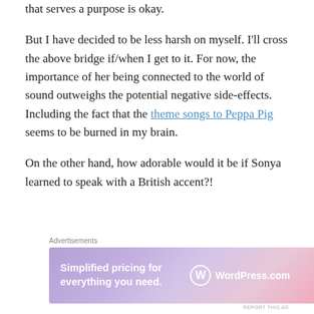that serves a purpose is okay.
But I have decided to be less harsh on myself. I'll cross the above bridge if/when I get to it. For now, the importance of her being connected to the world of sound outweighs the potential negative side-effects. Including the fact that the theme songs to Peppa Pig seems to be burned in my brain.
On the other hand, how adorable would it be if Sonya learned to speak with a British accent?!
[Figure (other): WordPress.com advertisement banner: 'Simplified pricing for everything you need.' with WordPress.com logo on a purple-to-pink gradient background.]